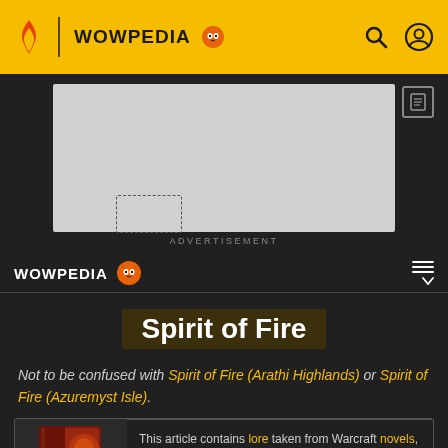WOWPEDIA
[Figure (screenshot): Advertisement placeholder box]
ADVERTISEMENT
WOWPEDIA
Spirit of Fire
Not to be confused with Spirit of Fire (Arathi Highlands) or Spirit of Fire (Azuremyst Isle).
This article contains lore taken from Warcraft novels, novellas, or short stories.